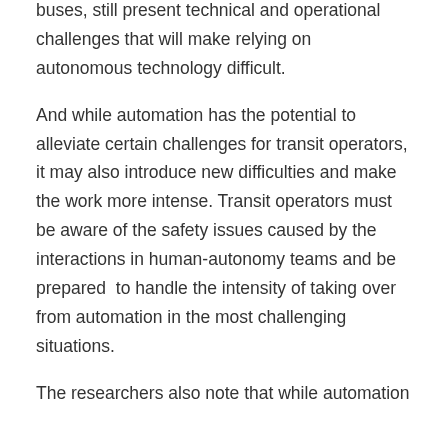buses, still present technical and operational challenges that will make relying on autonomous technology difficult.
And while automation has the potential to alleviate certain challenges for transit operators, it may also introduce new difficulties and make the work more intense. Transit operators must be aware of the safety issues caused by the interactions in human-autonomy teams and be prepared to handle the intensity of taking over from automation in the most challenging situations.
The researchers also note that while automation